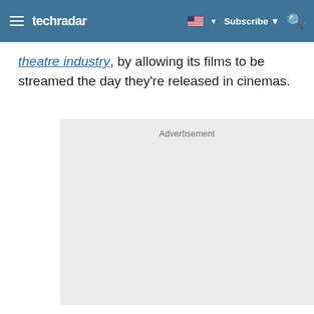techradar — Subscribe
theatre industry, by allowing its films to be streamed the day they're released in cinemas.
[Figure (other): Advertisement placeholder box with light grey background and 'Advertisement' label text]